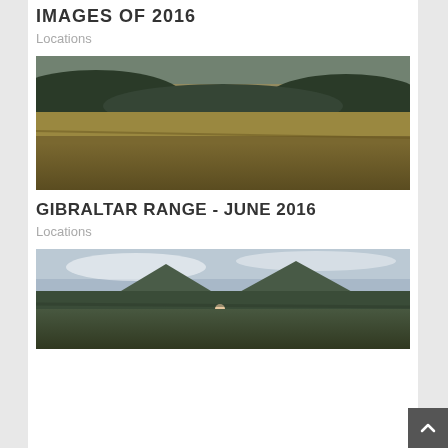IMAGES OF 2016
Locations
[Figure (photo): Landscape photograph of a wetland or grassland scene at dusk/dawn, with golden grass in foreground, flat rock formations in middle ground, and forested hills in background under a pale sky.]
GIBRALTAR RANGE - JUNE 2016
Locations
[Figure (photo): Landscape photograph showing rocky mountain peaks and hills with a person in a red jacket visible in the foreground, under a cloudy sky at dawn or dusk.]